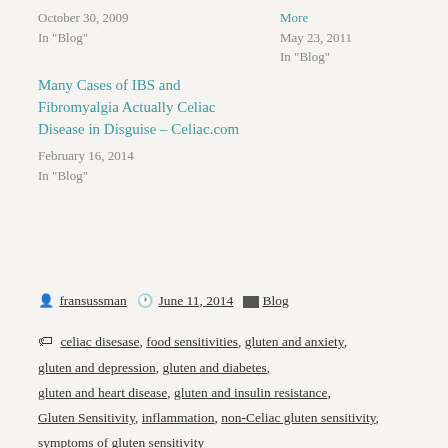October 30, 2009
In "Blog"
More
May 23, 2011
In "Blog"
Many Cases of IBS and Fibromyalgia Actually Celiac Disease in Disguise – Celiac.com
February 16, 2014
In "Blog"
fransussman  June 11, 2014  Blog
celiac disesase, food sensitivities, gluten and anxiety, gluten and depression, gluten and diabetes, gluten and heart disease, gluten and insulin resistance, Gluten Sensitivity, inflammation, non-Celiac gluten sensitivity, symptoms of gluten sensitivity